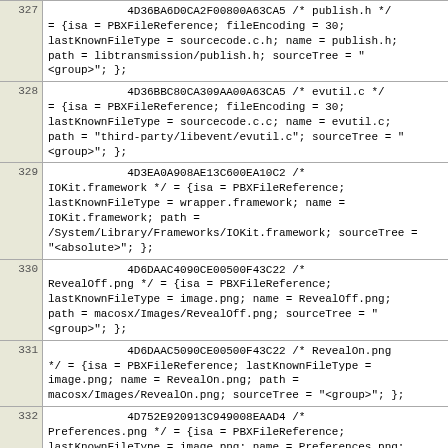| line | code |
| --- | --- |
| 327 | 4D36BA6D0CA2F00800A63CA5 /* publish.h */
= {isa = PBXFileReference; fileEncoding = 30;
lastKnownFileType = sourcecode.c.h; name = publish.h;
path = libtransmission/publish.h; sourceTree = "
<group>"; }; |
| 328 | 4D36BBC80CA309AA00A63CA5 /* evutil.c */
= {isa = PBXFileReference; fileEncoding = 30;
lastKnownFileType = sourcecode.c.c; name = evutil.c;
path = "third-party/libevent/evutil.c"; sourceTree = "
<group>"; }; |
| 329 | 4D3EA0A908AE13C600EA10C2 /*
IOKit.framework */ = {isa = PBXFileReference;
lastKnownFileType = wrapper.framework; name =
IOKit.framework; path =
/System/Library/Frameworks/IOKit.framework; sourceTree =
"<absolute>"; }; |
| 330 | 4D6DAAC4090CE00500F43C22 /*
RevealOff.png */ = {isa = PBXFileReference;
lastKnownFileType = image.png; name = RevealOff.png;
path = macosx/Images/RevealOff.png; sourceTree = "
<group>"; }; |
| 331 | 4D6DAAC5090CE00500F43C22 /* RevealOn.png
*/ = {isa = PBXFileReference; lastKnownFileType =
image.png; name = RevealOn.png; path =
macosx/Images/RevealOn.png; sourceTree = "<group>"; }; |
| 332 | 4D752E920913C949008EAAD4 /*
Preferences.png */ = {isa = PBXFileReference;
lastKnownFileType = image.png; name = Preferences.png;
path = macosx/Images/Preferences.png; sourceTree = "
<group>"; }; |
| 333 | 4DA6FDB80911233800450CB1 /* PauseOn.png
*/ = {isa = PBXFileReference; lastKnownFileType =
image.png; name = PauseOn.png; path =
macosx/Images/PauseOn.png; sourceTree = "<group>"; }; |
| 334 | 4DA6FDB90911233800450CB1 /* PauseOff.png
*/ = {isa = PBXFileReference; lastKnownFileType = |